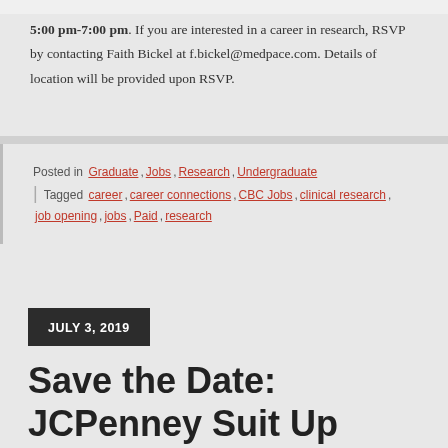5:00 pm-7:00 pm. If you are interested in a career in research, RSVP by contacting Faith Bickel at f.bickel@medpace.com. Details of location will be provided upon RSVP.
Posted in Graduate, Jobs, Research, Undergraduate | Tagged career, career connections, CBC Jobs, clinical research, job opening, jobs, Paid, research
JULY 3, 2019
Save the Date: JCPenney Suit Up Sale